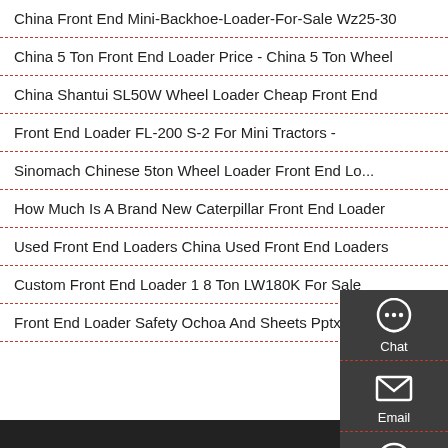China Front End Mini-Backhoe-Loader-For-Sale Wz25-30
China 5 Ton Front End Loader Price - China 5 Ton Wheel
China Shantui SL50W Wheel Loader Cheap Front End
Front End Loader FL-200 S-2 For Mini Tractors -
Sinomach Chinese 5ton Wheel Loader Front End Lo...
How Much Is A Brand New Caterpillar Front End Loader
Used Front End Loaders China Used Front End Loaders
Custom Front End Loader 1 8 Ton LW180K For Sale
Front End Loader Safety Ochoa And Sheets Pptx -